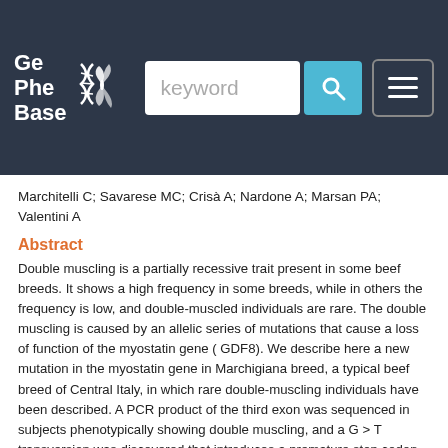GePheBase — keyword search bar with search button and menu button
Marchitelli C; Savarese MC; Crisà A; Nardone A; Marsan PA; Valentini A
Abstract
Double muscling is a partially recessive trait present in some beef breeds. It shows a high frequency in some breeds, while in others the frequency is low, and double-muscled individuals are rare. The double muscling is caused by an allelic series of mutations that cause a loss of function of the myostatin gene ( GDF8). We describe here a new mutation in the myostatin gene in Marchigiana breed, a typical beef breed of Central Italy, in which rare double-muscling individuals have been described. A PCR product of the third exon was sequenced in subjects phenotypically showing double muscling, and a G > T transversion was discovered that introduces a premature stop codon. The variant found adds to the large series of mutations present in cattle, and particularly to the only two causative of double muscling in the third exon. A PCR-RFLP test is described for the rapid and effective identification of both heterozygous and homozygous subjects. It was applied to a larger survey carried on the